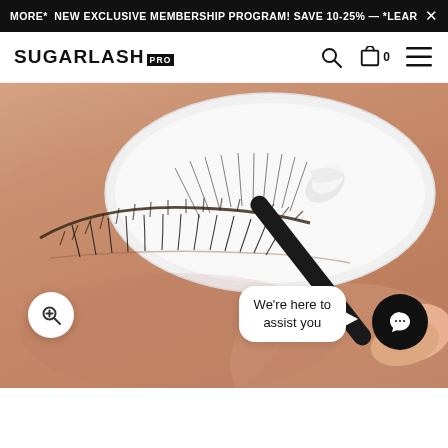MORE* NEW EXCLUSIVE MEMBERSHIP PROGRAM! SAVE 10-25% — *LEARN ×
SUGARLASH PRO
[Figure (photo): Close-up photo of a lash technician applying or styling eyelash extensions on a client's eye using a brush tool, with a white oval lash tray visible. The image fills the lower portion of the page.]
We're here to assist you